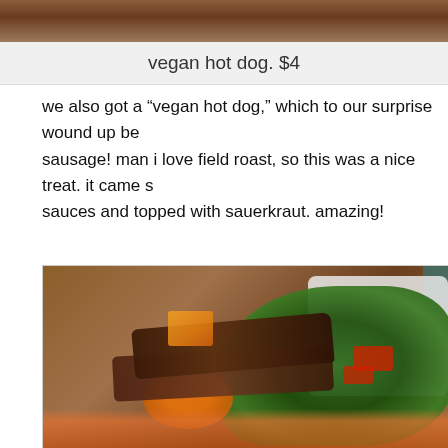[Figure (photo): Top strip of a food photo, cropped]
vegan hot dog. $4
we also got a “vegan hot dog,” which to our surprise wound up be- sausage! man i love field roast, so this was a nice treat. it came s- sauces and topped with sauerkraut. amazing!
[Figure (photo): Close-up food photo of a plated dish with grilled meat/tempeh layers, sauteed greens with red chard stems, orange squash, and orange sauce on a white plate]